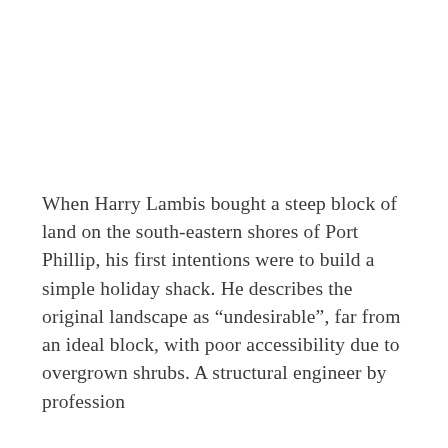When Harry Lambis bought a steep block of land on the south-eastern shores of Port Phillip, his first intentions were to build a simple holiday shack. He describes the original landscape as “undesirable”, far from an ideal block, with poor accessibility due to overgrown shrubs. A structural engineer by profession